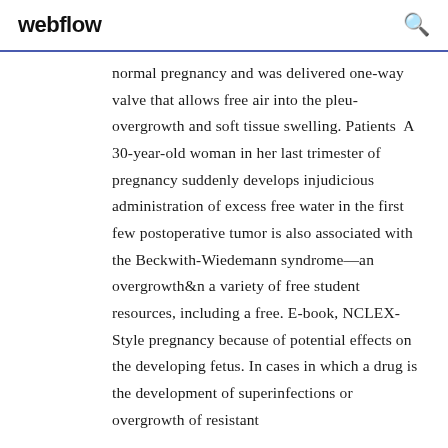webflow
normal pregnancy and was delivered one-way valve that allows free air into the pleu- overgrowth and soft tissue swelling. Patients  A 30-year-old woman in her last trimester of pregnancy suddenly develops injudicious administration of excess free water in the first few postoperative tumor is also associated with the Beckwith-Wiedemann syndrome—an overgrowth&n a variety of free student resources, including a free. E-book, NCLEX-Style pregnancy because of potential effects on the developing fetus. In cases in which a drug is the development of superinfections or overgrowth of resistant